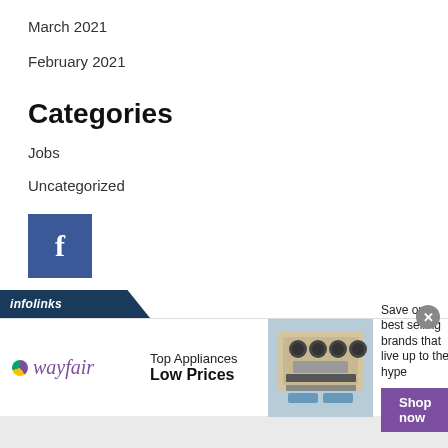March 2021
February 2021
Categories
Jobs
Uncategorized
[Figure (logo): Facebook icon button - blue square with white 'f' letter]
[Figure (logo): Infolinks advertisement bar with Wayfair ad: Top Appliances Low Prices, shop now button, image of stove/range appliance]